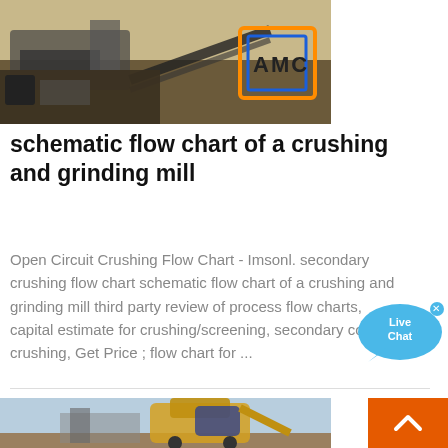[Figure (photo): Mining/crushing equipment at a quarry site with sandy terrain and machinery. AMC logo visible in orange and blue.]
schematic flow chart of a crushing and grinding mill
Open Circuit Crushing Flow Chart - Imsonl. secondary crushing flow chart schematic flow chart of a crushing and grinding mill third party review of process flow charts, capital estimate for crushing/screening, secondary cone crushing, Get Price ; flow chart for ...
[Figure (photo): Large yellow mining loader/bulldozer equipment against a blue sky, loading material into a crusher or similar machine.]